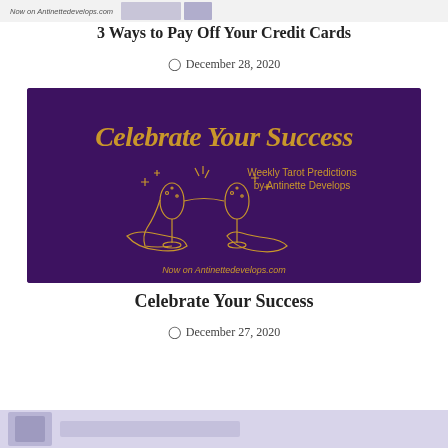[Figure (illustration): Partial top strip of a previous blog card with text 'Now on Antinettedevelops.com' and a small partial image]
3 Ways to Pay Off Your Credit Cards
December 28, 2020
[Figure (illustration): Purple banner image with gold script text 'Celebrate Your Success', subtitle 'Weekly Tarot Predictions by Antinette Develops', two champagne glasses clinking illustration in gold outline, text 'Now on Antinettedevelops.com' at bottom]
Celebrate Your Success
December 27, 2020
[Figure (illustration): Partial bottom strip of another blog card, light purple/lavender background with partial image content visible]